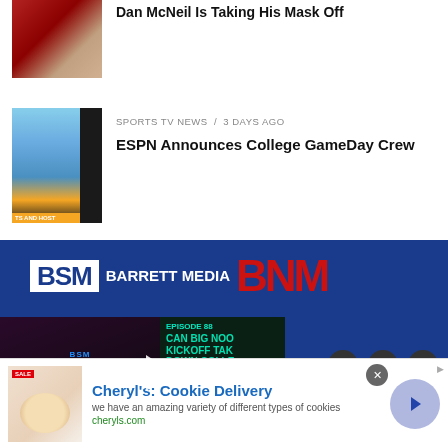[Figure (photo): Thumbnail of man in red cap with headphones]
Dan McNeil Is Taking His Mask Off
[Figure (photo): Thumbnail of ESPN College GameDay crew]
SPORTS TV NEWS / 3 days ago
ESPN Announces College GameDay Crew
[Figure (logo): Barrett Sports Media / BNM logo on blue background with Media Noise podcast panel and social icons]
[Figure (photo): Advertisement: Cheryl's Cookie Delivery with cookie image]
Cheryl's: Cookie Delivery
we have an amazing variety of different types of cookies
cheryls.com